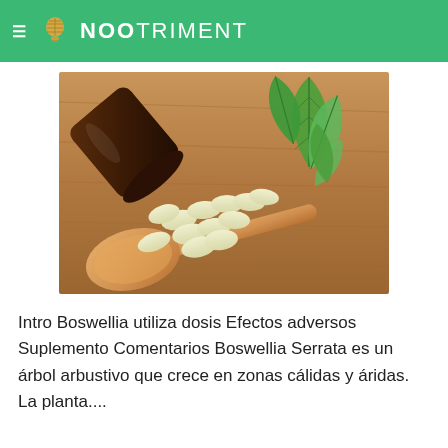≡ NOOTRIMENT
[Figure (photo): A wooden spoon holding multiple pale yellow supplement tablets/pills spilling out of a dark amber glass bottle, with fresh green mint leaves in the background, on a wooden surface.]
Intro Boswellia utiliza dosis Efectos adversos Suplemento Comentarios Boswellia Serrata es un árbol arbustivo que crece en zonas cálidas y áridas. La planta....